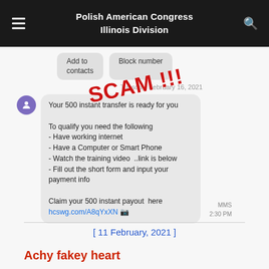Polish American Congress Illinois Division
[Figure (screenshot): Screenshot of a SMS/text message conversation showing a scam message that says 'Your 500 instant transfer is ready for you. To qualify you need the following - Have working internet - Have a Computer or Smart Phone - Watch the training video ..link is below - Fill out the short form and input your payment info. Claim your 500 instant payout here hcswg.com/A8qYxXN'. Overlaid with red text 'SCAM !!!']
[ 11 February, 2021 ]
Achy fakey heart